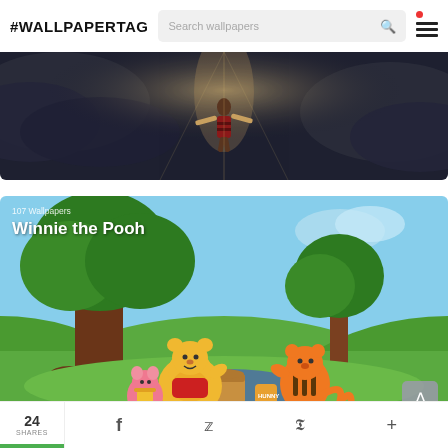#WALLPAPERTAG
[Figure (screenshot): Dark stormy sky scene with a figure appearing to fly or fall, cinematic wallpaper thumbnail]
[Figure (screenshot): Winnie the Pooh characters (Pooh, Piglet, Tigger) having a picnic under a tree on a green hillside, animated style. Overlay text: 107 Wallpapers / Winnie the Pooh]
24 SHARES   f   Twitter   Pinterest   +